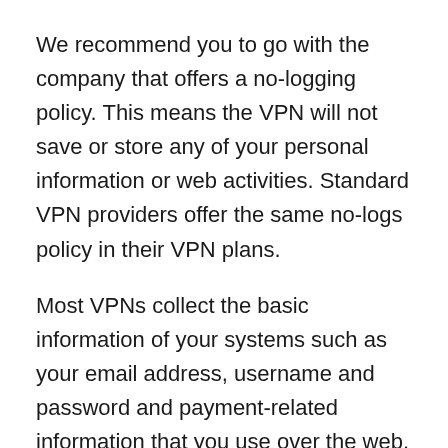We recommend you to go with the company that offers a no-logging policy. This means the VPN will not save or store any of your personal information or web activities. Standard VPN providers offer the same no-logs policy in their VPN plans.
Most VPNs collect the basic information of your systems such as your email address, username and password and payment-related information that you use over the web.
Tip 3: Check out the Speed
Not all VPN providers offer the same speed when you change the network or the server's location. For that reason, you must check the speed offered by the VPN provider. Usually, you will see a fluctuation in the speed as